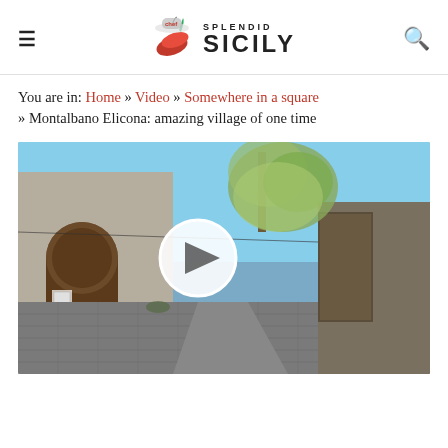SPLENDID SICILY (logo with hamburger menu and search icon)
You are in: Home » Video » Somewhere in a square » Montalbano Elicona: amazing village of one time
[Figure (photo): Video thumbnail showing a stone-paved alley in Montalbano Elicona, an old Sicilian village. There is a white-walled building with an arched wooden door on the left, a tree with sparse leaves in the background against a blue sky, and a stone wall on the right. A large white circular play button is overlaid in the center of the image.]